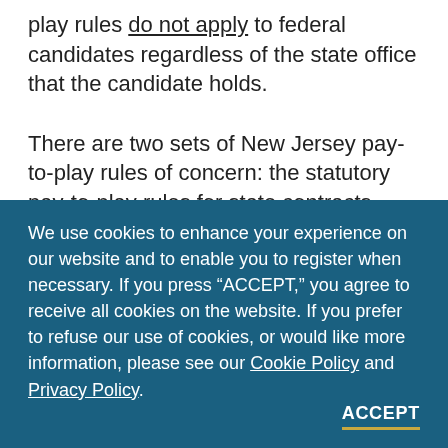play rules do not apply to federal candidates regardless of the state office that the candidate holds.

There are two sets of New Jersey pay-to-play rules of concern: the statutory pay-to-play rules for state contracts under N.J.S.A. 19:44A-20.13-20.25, and the regulations of the New Jersey State Investment Council under N.J.A.C. 17:16-4.1 to 4.11.
We use cookies to enhance your experience on our website and to enable you to register when necessary. If you press “ACCEPT,” you agree to receive all cookies on the website. If you prefer to refuse our use of cookies, or would like more information, please see our Cookie Policy and Privacy Policy.
ACCEPT